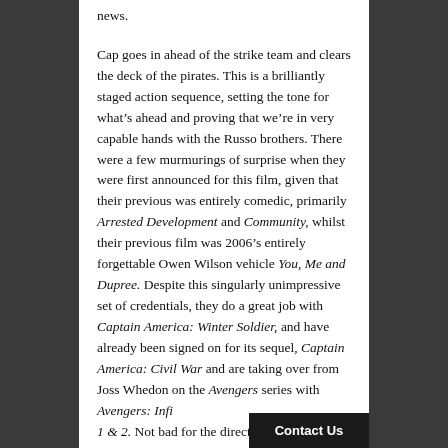news.
Cap goes in ahead of the strike team and clears the deck of the pirates. This is a brilliantly staged action sequence, setting the tone for what's ahead and proving that we're in very capable hands with the Russo brothers. There were a few murmurings of surprise when they were first announced for this film, given that their previous was entirely comedic, primarily Arrested Development and Community, whilst their previous film was 2006's entirely forgettable Owen Wilson vehicle You, Me and Dupree. Despite this singularly unimpressive set of credentials, they do a great job with Captain America: Winter Soldier, and have already been signed on for its sequel, Captain America: Civil War and are taking over from Joss Whedon on the Avengers series with Avengers: Infi... 1 & 2. Not bad for the directors o...